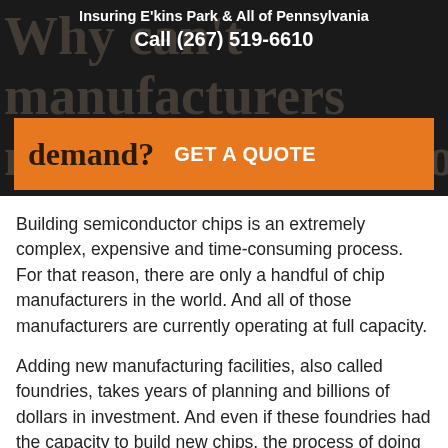Insuring E'kins Park & All of Pennsylvania
Call (267) 519-6610
Why can't manufacturers make more chips to meet demand?
GET A QUOTE
Building semiconductor chips is an extremely complex, expensive and time-consuming process. For that reason, there are only a handful of chip manufacturers in the world. And all of those manufacturers are currently operating at full capacity.
Adding new manufacturing facilities, also called foundries, takes years of planning and billions of dollars in investment. And even if these foundries had the capacity to build new chips, the process of doing so